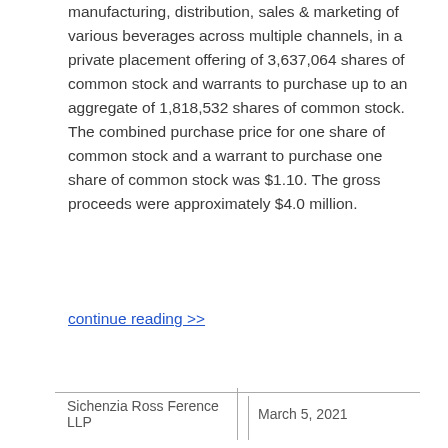manufacturing, distribution, sales & marketing of various beverages across multiple channels, in a private placement offering of 3,637,064 shares of common stock and warrants to purchase up to an aggregate of 1,818,532 shares of common stock. The combined purchase price for one share of common stock and a warrant to purchase one share of common stock was $1.10. The gross proceeds were approximately $4.0 million.
continue reading >>
Sichenzia Ross Ference LLP    March 5, 2021